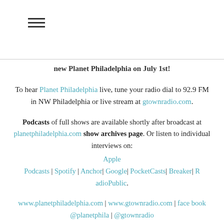(hamburger menu icon)
new Planet Philadelphia on July 1st!
To hear Planet Philadelphia live, tune your radio dial to 92.9 FM in NW Philadelphia or live stream at gtownradio.com.
Podcasts of full shows are available shortly after broadcast at planetphiladelphia.com show archives page. Or listen to individual interviews on: Apple Podcasts | Spotify | Anchor| Google| PocketCasts| Breaker| RadioPublic.
www.planetphiladelphia.com | www.gtownradio.com | facebook @planetphila | @gtownradio